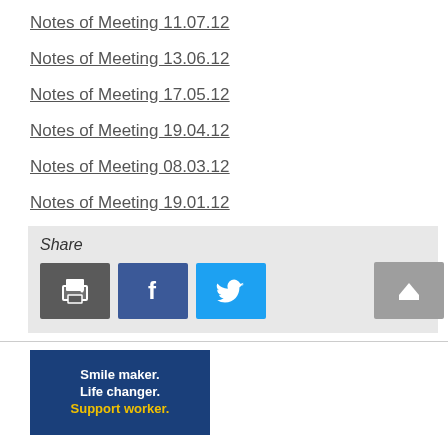Notes of Meeting 11.07.12
Notes of Meeting 13.06.12
Notes of Meeting 17.05.12
Notes of Meeting 19.04.12
Notes of Meeting 08.03.12
Notes of Meeting 19.01.12
Share
[Figure (infographic): Smile maker. Life changer. Support worker. Banner advertisement in blue with yellow text for support worker recruitment.]